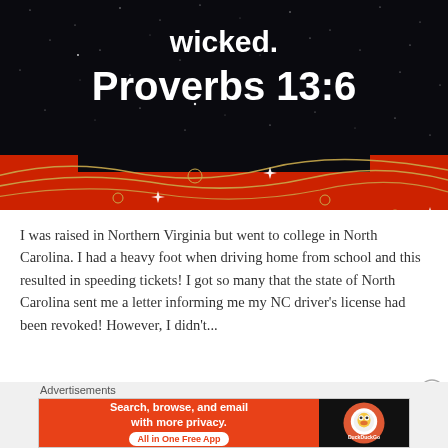[Figure (illustration): Dark starry night sky background image with text 'wicked. Proverbs 13:6' in white, and a decorative red and gold wavy banner at the bottom of the image.]
I was raised in Northern Virginia but went to college in North Carolina. I had a heavy foot when driving home from school and this resulted in speeding tickets! I got so many that the state of North Carolina sent me a letter informing me my NC driver's license had been revoked! However, I didn't...
Advertisements
[Figure (screenshot): DuckDuckGo advertisement banner: 'Search, browse, and email with more privacy. All in One Free App' on red background with DuckDuckGo logo on dark background.]